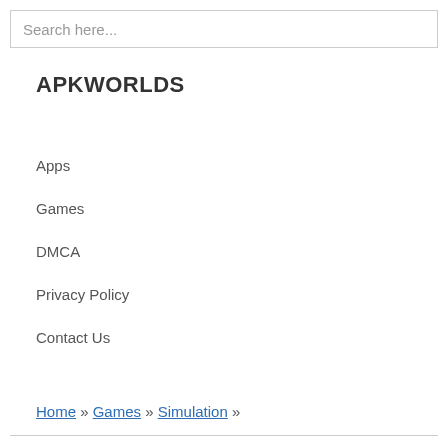Search here...
APKWORLDS
Apps
Games
DMCA
Privacy Policy
Contact Us
Home » Games » Simulation »